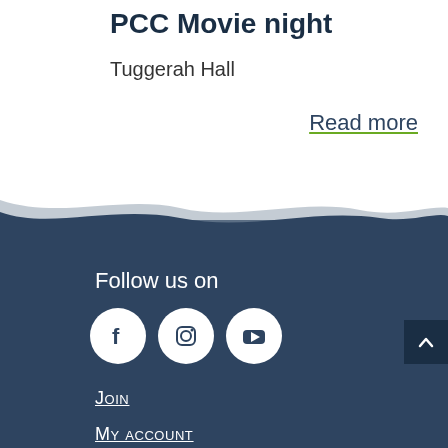PCC Movie night
Tuggerah Hall
Read more
[Figure (illustration): Wave divider between white top section and dark blue footer section]
Follow us on
[Figure (infographic): Three social media icons: Facebook, Instagram, YouTube — white circles on dark blue background]
Join
My account